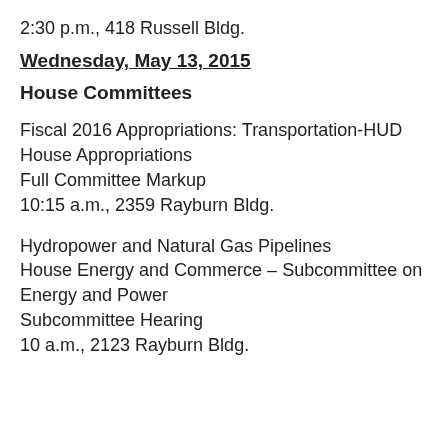2:30 p.m., 418 Russell Bldg.
Wednesday, May 13, 2015
House Committees
Fiscal 2016 Appropriations: Transportation-HUD
House Appropriations
Full Committee Markup
10:15 a.m., 2359 Rayburn Bldg.
Hydropower and Natural Gas Pipelines
House Energy and Commerce – Subcommittee on Energy and Power
Subcommittee Hearing
10 a.m., 2123 Rayburn Bldg.